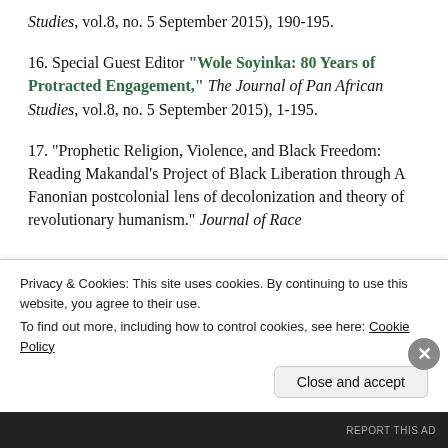Studies, vol.8, no. 5 September 2015), 190-195.
16. Special Guest Editor "Wole Soyinka: 80 Years of Protracted Engagement," The Journal of Pan African Studies, vol.8, no. 5 September 2015), 1-195.
17. "Prophetic Religion, Violence, and Black Freedom: Reading Makandal’s Project of Black Liberation through A Fanonian postcolonial lens of decolonization and theory of revolutionary humanism." Journal of Race
Privacy & Cookies: This site uses cookies. By continuing to use this website, you agree to their use. To find out more, including how to control cookies, see here: Cookie Policy